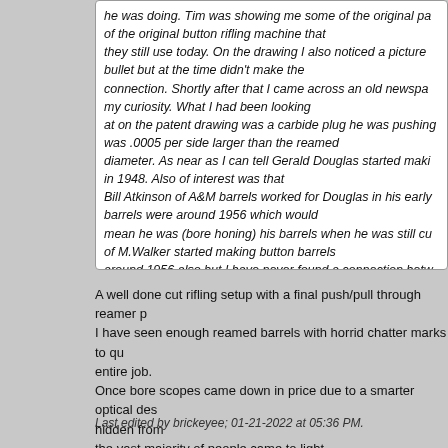he was doing. Tim was showing me some of the original pa of the original button rifling machine that they still use today. On the drawing I also noticed a picture bullet but at the time didn't make the connection. Shortly after that I came across an old newspa my curiosity. What I had been looking at on the patent drawing was a carbide plug he was pushing was .0005 per side larger than the reamed diameter. As near as I can tell Gerald Douglas started maki in 1948. Also of interest was that Bill Atkinson of A&M barrels worked for Douglas in his early barrels were around 1956 which would mean he was (bore honing) his barrels when he was still cu of M.Walker started making button barrels around 1956 also but I have never found a connection betw once about Douglas and he told me he had never met the man.
A well done cut rifling setup with a final push/pull through reamer p I have seen enough reamed barrels with horrid chatter marks to qu entire job.
Once bore scopes came down in price due to a smarter optical des hidden from the vast majority of people came to light.
The breakthrough in bore scopes came from doping the glass lens to the required shape.
Last edited by brickeyee; 01-21-2022 at 05:36 PM.